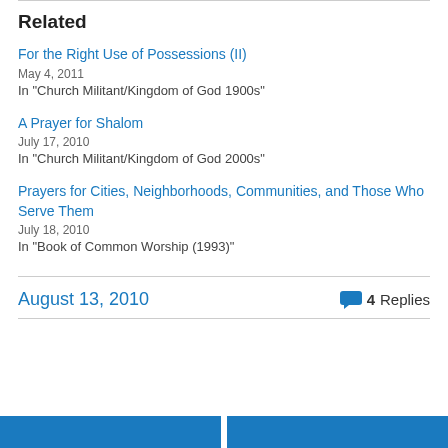Related
For the Right Use of Possessions (II)
May 4, 2011
In "Church Militant/Kingdom of God 1900s"
A Prayer for Shalom
July 17, 2010
In "Church Militant/Kingdom of God 2000s"
Prayers for Cities, Neighborhoods, Communities, and Those Who Serve Them
July 18, 2010
In "Book of Common Worship (1993)"
August 13, 2010
4 Replies